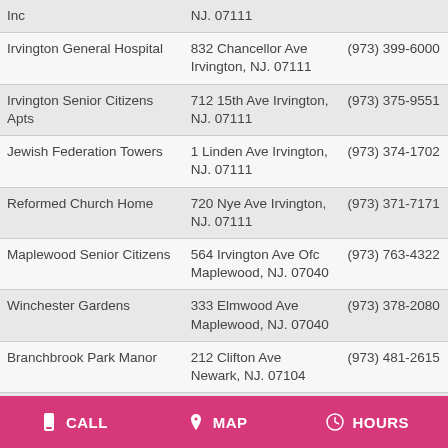| Name | Address | Phone |
| --- | --- | --- |
| Inc | NJ. 07111 |  |
| Irvington General Hospital | 832 Chancellor Ave Irvington, NJ. 07111 | (973) 399-6000 |
| Irvington Senior Citizens Apts | 712 15th Ave Irvington, NJ. 07111 | (973) 375-9551 |
| Jewish Federation Towers | 1 Linden Ave Irvington, NJ. 07111 | (973) 374-1702 |
| Reformed Church Home | 720 Nye Ave Irvington, NJ. 07111 | (973) 371-7171 |
| Maplewood Senior Citizens | 564 Irvington Ave Ofc Maplewood, NJ. 07040 | (973) 763-4322 |
| Winchester Gardens | 333 Elmwood Ave Maplewood, NJ. 07040 | (973) 378-2080 |
| Branchbrook Park Manor | 212 Clifton Ave Newark, NJ. 07104 | (973) 481-2615 |
| Brewster's Guest House | 477 Mount Prospect Ave Newark, NJ. 07104 | (973) 485-8554 |
| Cathedral Health Services Inc | 268 Martin Luther King Boulevard Newark, NJ. | (973) 242-6222 |
CALL  MAP  HOURS